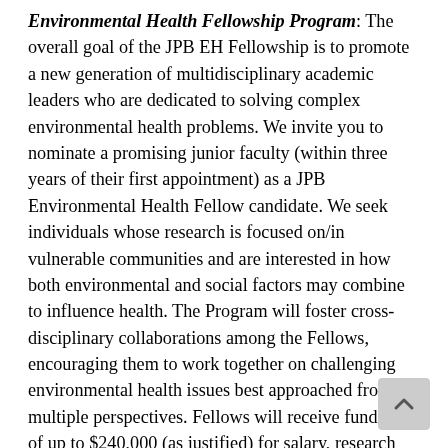Environmental Health Fellowship Program: The overall goal of the JPB EH Fellowship is to promote a new generation of multidisciplinary academic leaders who are dedicated to solving complex environmental health problems. We invite you to nominate a promising junior faculty (within three years of their first appointment) as a JPB Environmental Health Fellow candidate. We seek individuals whose research is focused on/in vulnerable communities and are interested in how both environmental and social factors may combine to influence health. The Program will foster cross-disciplinary collaborations among the Fellows, encouraging them to work together on challenging environmental health issues best approached from multiple perspectives. Fellows will receive funding of up to $240,000 (as justified) for salary, research costs, training and travel, over three years. Through workshops and mentoring, the Fellows will be provided with training in research methods,